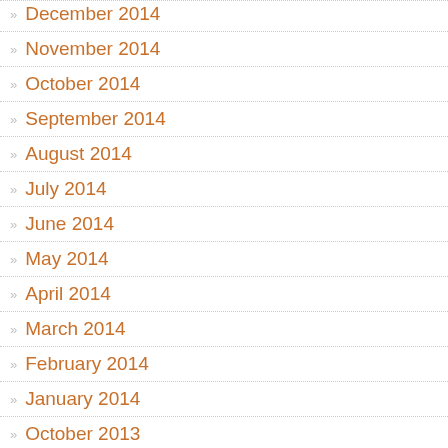December 2014
November 2014
October 2014
September 2014
August 2014
July 2014
June 2014
May 2014
April 2014
March 2014
February 2014
January 2014
October 2013
September 2013
August 2013